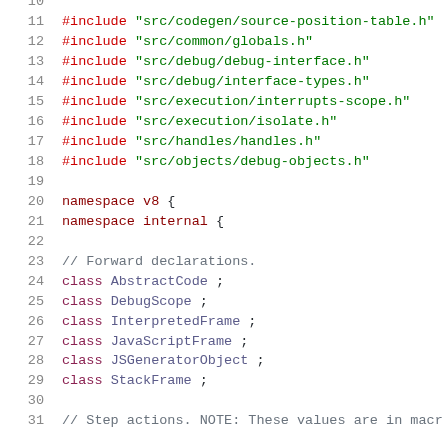Code listing lines 10-31 showing C++ include directives, namespace declarations, and class forward declarations.